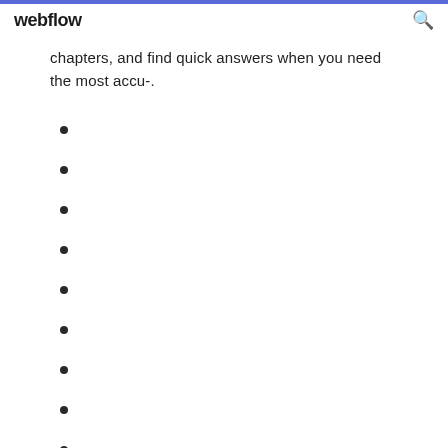webflow
chapters, and find quick answers when you need the most accu-.